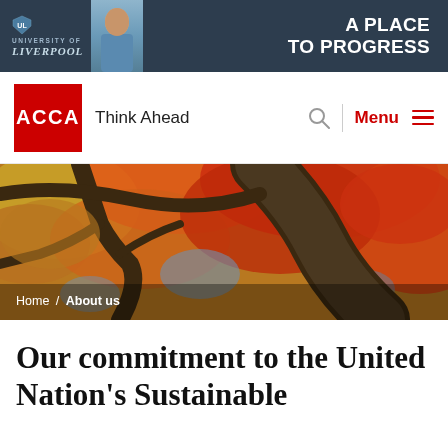[Figure (screenshot): University of Liverpool advertisement banner: dark navy background with Liverpool logo, a photo of a man, and text 'A PLACE TO PROGRESS']
ACCA Think Ahead — Menu
[Figure (photo): Hero image of autumn tree branches with orange, red and yellow leaves viewed from below against a blue sky]
Home / About us
Our commitment to the United Nation's Sustainable